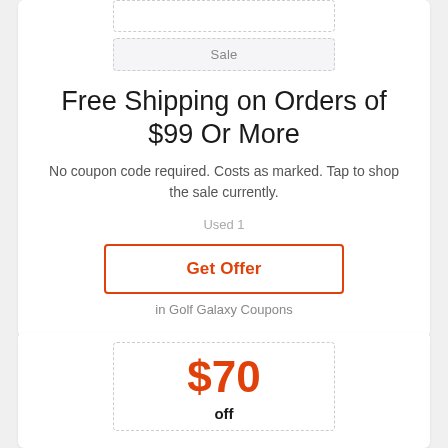Sale
Free Shipping on Orders of $99 Or More
No coupon code required. Costs as marked. Tap to shop the sale currently.
Used 1
Get Offer
in Golf Galaxy Coupons
$70
off